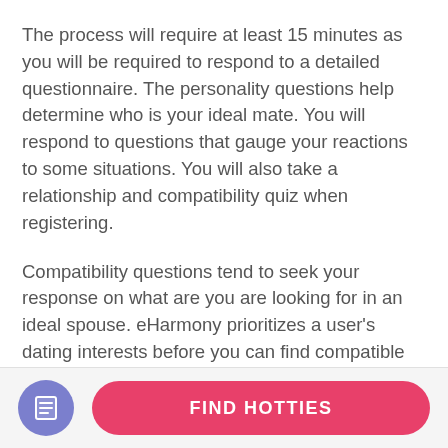The process will require at least 15 minutes as you will be required to respond to a detailed questionnaire. The personality questions help determine who is your ideal mate. You will respond to questions that gauge your reactions to some situations. You will also take a relationship and compatibility quiz when registering.
Compatibility questions tend to seek your response on what are you are looking for in an ideal spouse. eHarmony prioritizes a user's dating interests before you can find compatible suggestions. You can submit other details, including age and uploading a photo when done with the questionnaire.
[Figure (illustration): Purple circle icon with a document/list symbol inside]
FIND HOTTIES